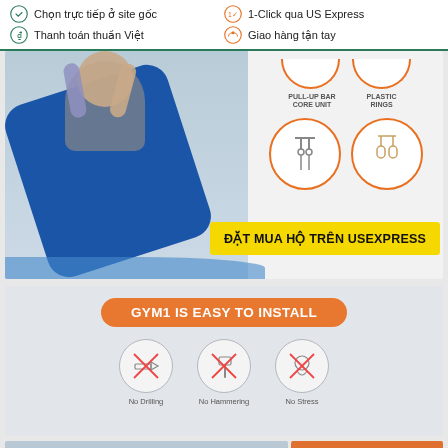Chọn trực tiếp ở site gốc | Thanh toán thuần Việt | 1-Click qua US Express | Giao hàng tận tay
[Figure (photo): Person doing pull-up exercise on gym equipment with blue mat/pad, product component circles showing PULL-UP BAR CORE UNIT and PLASTIC RINGS on right side, yellow CTA button reading ĐẶT MUA HỘ TRÊN USEXPRESS]
ĐẶT MUA HỘ TRÊN USEXPRESS
[Figure (infographic): GYM1 IS EASY TO INSTALL banner with three icons: No Drilling, No Hammering, No Stress]
[Figure (photo): Bottom strip showing gym installation photo]